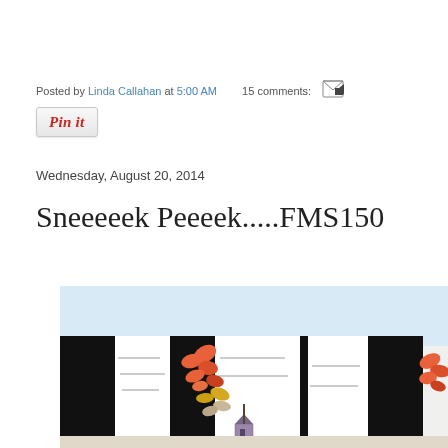Posted by Linda Callahan at 5:00 AM   15 comments:
[Figure (other): Pin it button - a small rectangular button with italic red text 'Pin it' on a light gray background with a border]
Wednesday, August 20, 2014
Sneeeeek Peeeek.....FMS150
[Figure (photo): A photo showing decorative cards or paper crafts with a black and white striped background pattern and colorful autumn leaf designs in orange, yellow, and taupe colors. A small house/tree illustration is visible at the bottom.]